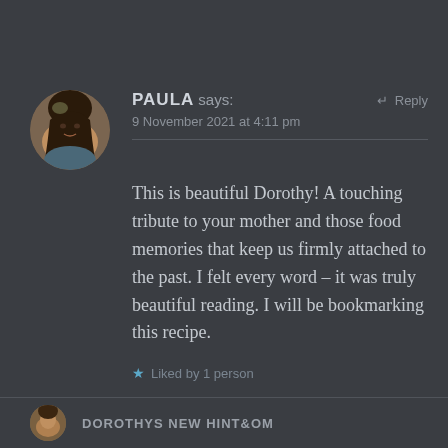[Figure (photo): Circular profile photo of a woman with dark hair smiling, background shows indoor setting]
PAULA says:
↵ Reply
9 November 2021 at 4:11 pm
This is beautiful Dorothy! A touching tribute to your mother and those food memories that keep us firmly attached to the past. I felt every word – it was truly beautiful reading. I will be bookmarking this recipe.
★ Liked by 1 person
[Figure (photo): Circular profile photo of another person, partially visible at bottom]
DOROTHYS NEW HINT&OM